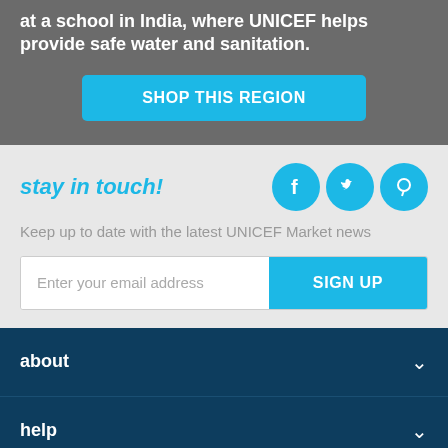at a school in India, where UNICEF helps provide safe water and sanitation.
SHOP THIS REGION
stay in touch!
Keep up to date with the latest UNICEF Market news
Enter your email address
SIGN UP
about
help